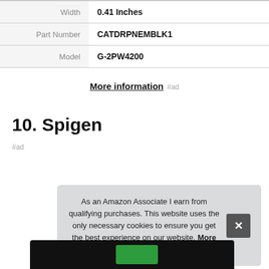| Attribute | Value |
| --- | --- |
| Width | 0.41 Inches |
| Part Number | CATDRPNEMBLK1 |
| Model | G-2PW4200 |
More information #ad
10. Spigen
#ad
As an Amazon Associate I earn from qualifying purchases. This website uses the only necessary cookies to ensure you get the best experience on our website. More information